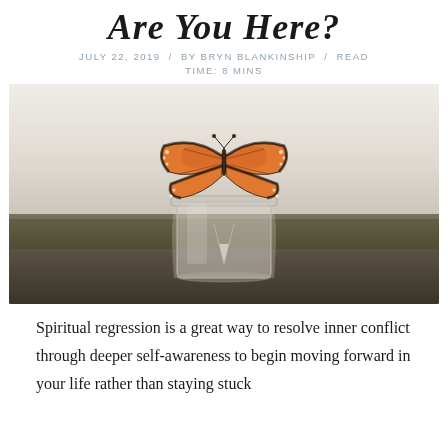Are You Here?
JULY 22, 2019  /  BY BRYN BLANKINSHIP  /  READ TIME: 8 MINS
[Figure (photo): A monarch butterfly hovering above an open glass jar, set on a mossy outdoor surface against a soft, hazy background.]
Spiritual regression is a great way to resolve inner conflict through deeper self-awareness to begin moving forward in your life rather than staying stuck